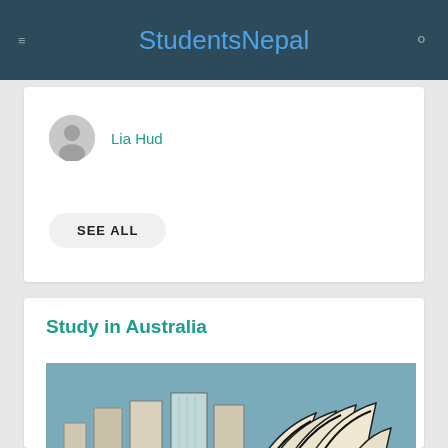StudentsNepal
Lia Hud
SEE ALL
Study in Australia
[Figure (illustration): Illustration of Sydney Opera House and city skyline with buildings and green foreground]